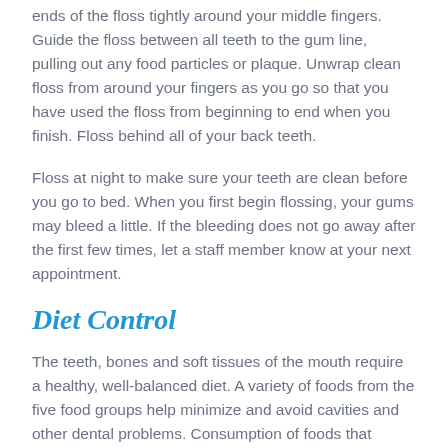ends of the floss tightly around your middle fingers. Guide the floss between all teeth to the gum line, pulling out any food particles or plaque. Unwrap clean floss from around your fingers as you go so that you have used the floss from beginning to end when you finish. Floss behind all of your back teeth.
Floss at night to make sure your teeth are clean before you go to bed. When you first begin flossing, your gums may bleed a little. If the bleeding does not go away after the first few times, let a staff member know at your next appointment.
Diet Control
The teeth, bones and soft tissues of the mouth require a healthy, well-balanced diet. A variety of foods from the five food groups help minimize and avoid cavities and other dental problems. Consumption of foods that contain sugars and starches should be decreased. These foods can include